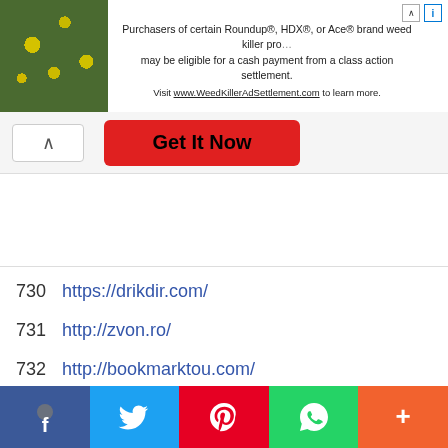[Figure (screenshot): Advertisement banner for WeedKiller class action settlement with plant image]
Get It Now
730  https://drikdir.com/
731  http://zvon.ro/
732  http://bookmarktou.com/
733  https://elearningtags.com/
734  http://financial-hub.net/
735  https://ukcommunityforum.co.uk/
[Figure (screenshot): Social media share buttons: Facebook, Twitter, Pinterest, WhatsApp, More]